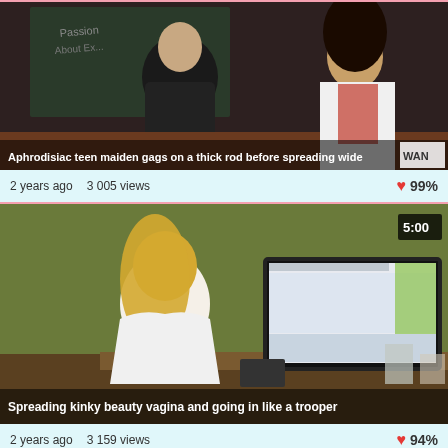[Figure (photo): Video thumbnail 1: classroom scene with man in black jacket and woman in white shirt with red tie, chalkboard in background]
Aphrodisiac teen maiden gags on a thick rod before spreading wide
2 years ago  3 005 views  ❤ 99%
[Figure (photo): Video thumbnail 2: blonde woman in white top seated at office desk with large monitor, green wall background, duration 5:00]
Spreading kinky beauty vagina and going in like a trooper
2 years ago  3 159 views  ❤ 94%
[Figure (photo): Video thumbnail 3: office corkboard with papers and notes pinned, duration 5:00]